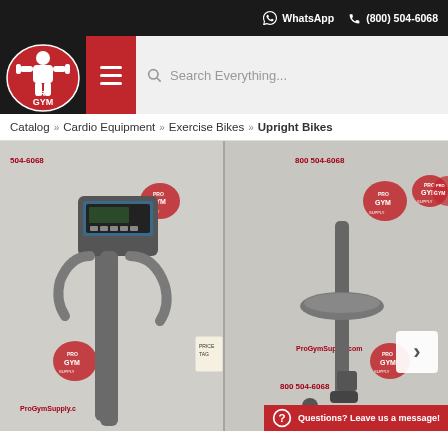WhatsApp  (800) 504-6068
[Figure (logo): Pro Gym Supply logo - red circular emblem with muscular figure]
Search Everything...
Catalog » Cardio Equipment » Exercise Bikes » Upright Bikes
[Figure (photo): Exercise upright bike product photos showing handlebars/console on left and seat on right, with Pro Gym Supply branded backdrop showing logo and phone number 800 504-6068 and ProGymSupply.com]
Questions? Leave us a message!